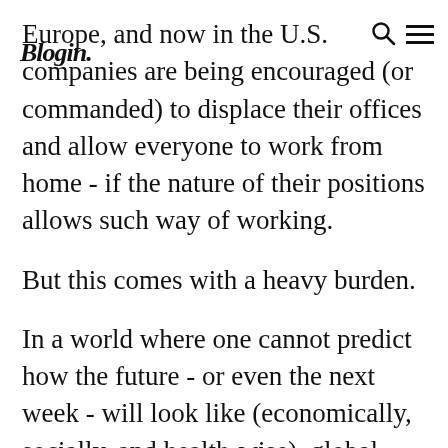Blogin. [search icon] [menu icon]
Europe, and now in the U.S. companies are being encouraged (or commanded) to displace their offices and allow everyone to work from home - if the nature of their positions allows such way of working.

But this comes with a heavy burden.

In a world where one cannot predict how the future - or even the next week - will look like (economically, socially, and health-wise), global businesses need to find a way to adjust their work to the